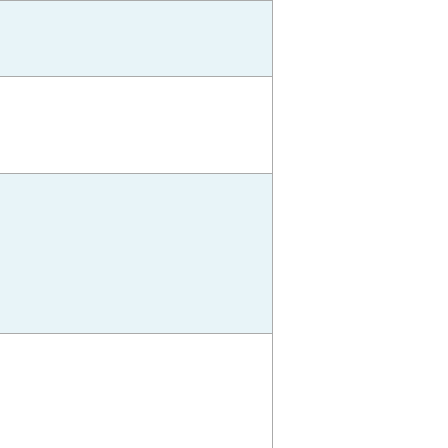| Distance | Location |
| --- | --- |
| 155.6
164.3
948 ft. | Lebanon St
Jamestown, |
| 102.1
164.3
951 ft. | Intersection,
State Rte #3 |
| 104.3
167.9
955 ft. | N Co Rd 10
Maplewood |
| 106.4
171.3
938 | S Maple St
Pittsboro, II |